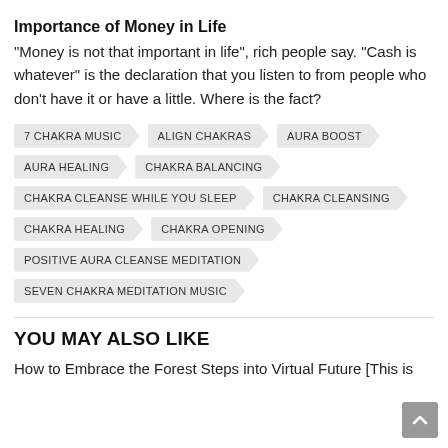Importance of Money in Life
“Money is not that important in life”, rich people say. “Cash is whatever” is the declaration that you listen to from people who don’t have it or have a little. Where is the fact?
7 CHAKRA MUSIC
ALIGN CHAKRAS
AURA BOOST
AURA HEALING
CHAKRA BALANCING
CHAKRA CLEANSE WHILE YOU SLEEP
CHAKRA CLEANSING
CHAKRA HEALING
CHAKRA OPENING
POSITIVE AURA CLEANSE MEDITATION
SEVEN CHAKRA MEDITATION MUSIC
YOU MAY ALSO LIKE
How to Embrace the Forest Steps into Virtual Future [This is